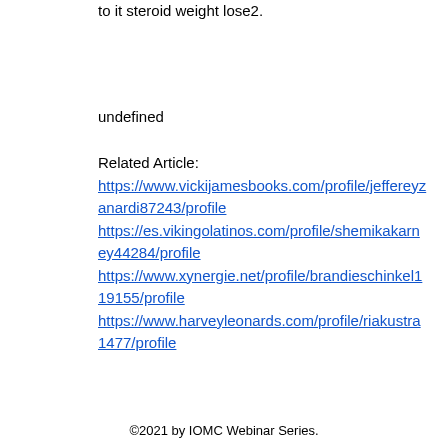to it steroid weight lose2.
undefined
Related Article:
https://www.vickijamesbooks.com/profile/jeffereyzanardi87243/profile
https://es.vikingolatinos.com/profile/shemikakarney44284/profile
https://www.xynergie.net/profile/brandieschinkel119155/profile
https://www.harveyleonards.com/profile/riakustra1477/profile
©2021 by IOMC Webinar Series.